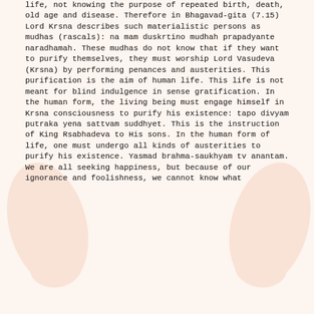life, not knowing the purpose of repeated birth, death, old age and disease. Therefore in Bhagavad-gita (7.15) Lord Krsna describes such materialistic persons as mudhas (rascals): na mam duskrtino mudhah prapadyante naradhamah. These mudhas do not know that if they want to purify themselves, they must worship Lord Vasudeva (Krsna) by performing penances and austerities. This purification is the aim of human life. This life is not meant for blind indulgence in sense gratification. In the human form, the living being must engage himself in Krsna consciousness to purify his existence: tapo divyam putraka yena sattvam suddhyet. This is the instruction of King Rsabhadeva to His sons. In the human form of life, one must undergo all kinds of austerities to purify his existence. Yasmad brahma-saukhyam tv anantam. We are all seeking happiness, but because of our ignorance and foolishness, we cannot know what real transcendental happiness is.